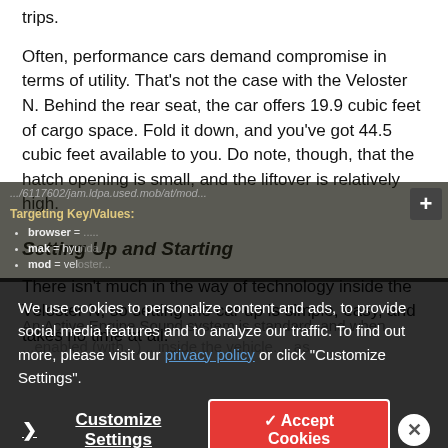trips.
Often, performance cars demand compromise in terms of utility. That's not the case with the Veloster N. Behind the rear seat, the car offers 19.9 cubic feet of cargo space. Fold it down, and you've got 44.5 cubic feet available to you. Do note, though, that the hatch opening is small, and the liftover is relatively high.
Setting Up and Starting
There isn't much in the way of technology inside the Veloster N, so setting the car up is simple, easy, and takes no time at all.
An Active Engine Sound system is standard, and when... [partially obscured by overlay]
We use cookies to personalize content and ads, to provide social media features and to analyze our traffic. To find out more, please visit our privacy policy or click "Customize Settings".
Customize Settings  ✓ Accept Cookies